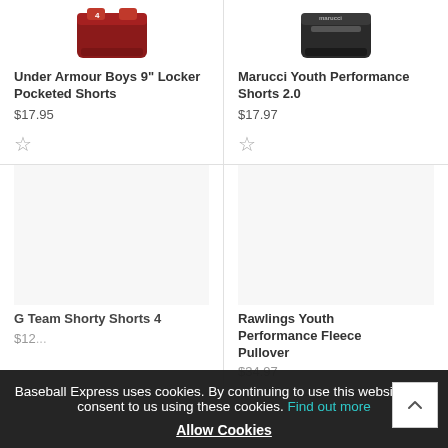[Figure (photo): Under Armour Boys 9" Locker Pocketed Shorts product image (red/dark red shorts, cropped top)]
Under Armour Boys 9" Locker Pocketed Shorts
$17.95
[Figure (photo): Marucci Youth Performance Shorts 2.0 product image (black shorts, cropped top)]
Marucci Youth Performance Shorts 2.0
$17.97
G Team Shorty Shorts 4
$12...
Rawlings Youth Performance Fleece Pullover
$34.97
Baseball Express uses cookies. By continuing to use this website, you consent to us using these cookies. Find out more
Allow Cookies